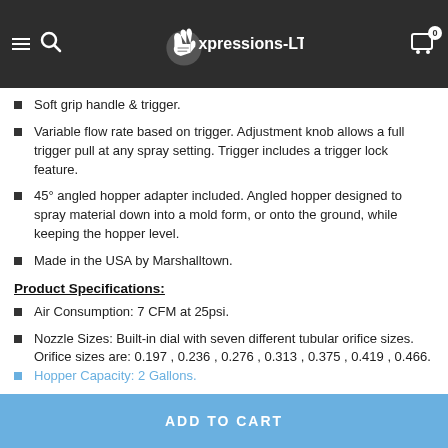Expressions-LTD
Soft grip handle & trigger.
Variable flow rate based on trigger. Adjustment knob allows a full trigger pull at any spray setting. Trigger includes a trigger lock feature.
45° angled hopper adapter included. Angled hopper designed to spray material down into a mold form, or onto the ground, while keeping the hopper level.
Made in the USA by Marshalltown.
Product Specifications:
Air Consumption: 7 CFM at 25psi.
Nozzle Sizes: Built-in dial with seven different tubular orifice sizes. Orifice sizes are: 0.197 , 0.236 , 0.276 , 0.313 , 0.375 , 0.419 , 0.466.
Hopper Capacity: 2 Gallons.